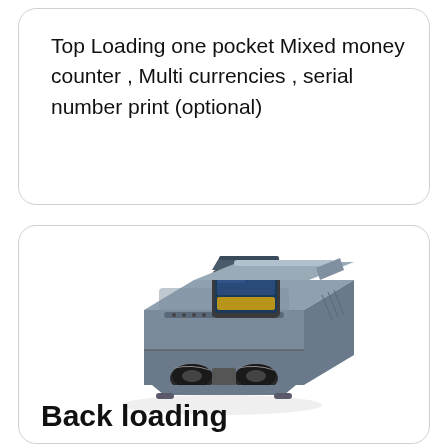Top Loading one pocket Mixed money counter , Multi currencies , serial number print (optional)
[Figure (photo): A gray mixed-denomination banknote counting machine with a color LCD screen on top, two rollers visible at the front, and a paper feed slot at the back. The machine is photographed at an angle on a white background.]
Back loading